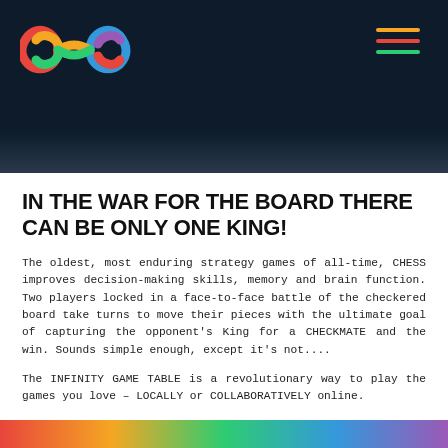[Figure (logo): Infinity Game Table colorful infinity loop logo on dark navy background with hamburger menu (three colored lines: orange, red, green) on the right]
IN THE WAR FOR THE BOARD THERE CAN BE ONLY ONE KING!
The oldest, most enduring strategy games of all-time, CHESS improves decision-making skills, memory and brain function. Two players locked in a face-to-face battle of the checkered board take turns to move their pieces with the ultimate goal of capturing the opponent's King for a CHECKMATE and the win. Sounds simple enough, except it's not....
The INFINITY GAME TABLE is a revolutionary way to play the games you love – LOCALLY or COLLABORATIVELY online.
[Figure (photo): Colorful bottom strip / image band at the bottom of the page]